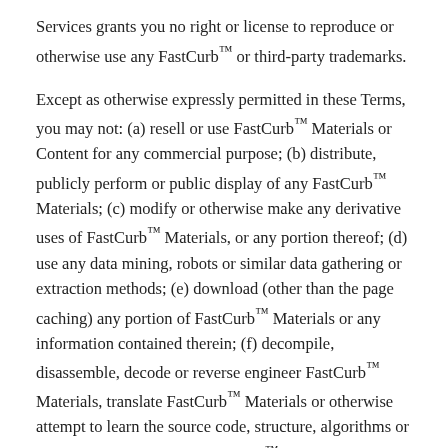Services grants you no right or license to reproduce or otherwise use any FastCurb™ or third-party trademarks.
Except as otherwise expressly permitted in these Terms, you may not: (a) resell or use FastCurb™ Materials or Content for any commercial purpose; (b) distribute, publicly perform or public display of any FastCurb™ Materials; (c) modify or otherwise make any derivative uses of FastCurb™ Materials, or any portion thereof; (d) use any data mining, robots or similar data gathering or extraction methods; (e) download (other than the page caching) any portion of FastCurb™ Materials or any information contained therein; (f) decompile, disassemble, decode or reverse engineer FastCurb™ Materials, translate FastCurb™ Materials or otherwise attempt to learn the source code, structure, algorithms or internal ideas underlying FastCurb™ Materials or reduce FastCurb™ Materials by any other means to a